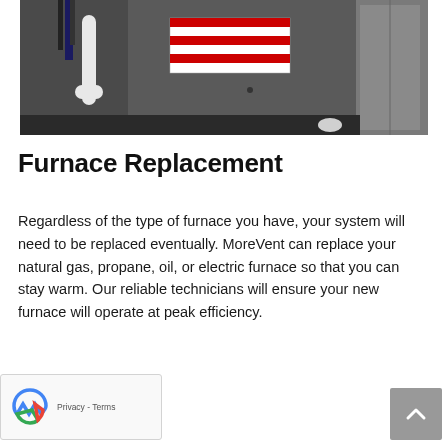[Figure (photo): Photo of a furnace unit showing the back/side panel with wiring, PVC pipes, and a red and white warning label sticker on a gray metal cabinet]
Furnace Replacement
Regardless of the type of furnace you have, your system will need to be replaced eventually. MoreVent can replace your natural gas, propane, oil, or electric furnace so that you can stay warm. Our reliable technicians will ensure your new furnace will operate at peak efficiency.